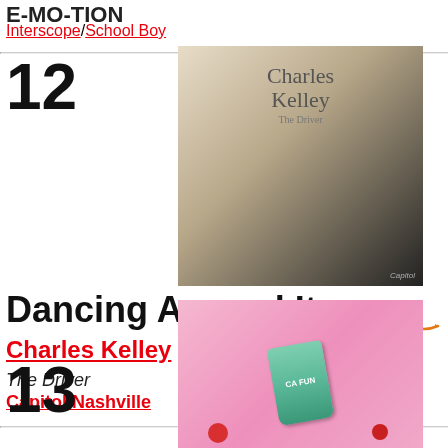E-MO-TION
Interscope/School Boy
[Figure (photo): Album cover for Charles Kelley 'The Driver' showing man in black shirt with Charles Kelley script text]
12
Dancing Around It
Charles Kelley
The Driver
Capitol Nashville
[Figure (photo): Album cover showing cartoon illustration of a can labeled CA FUN with strawberries on pink background]
13